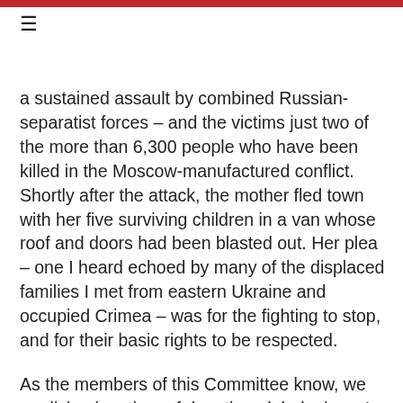≡
a sustained assault by combined Russian-separatist forces – and the victims just two of the more than 6,300 people who have been killed in the Moscow-manufactured conflict. Shortly after the attack, the mother fled town with her five surviving children in a van whose roof and doors had been blasted out. Her plea – one I heard echoed by many of the displaced families I met from eastern Ukraine and occupied Crimea – was for the fighting to stop, and for their basic rights to be respected.
As the members of this Committee know, we are living in a time of daunting global crises. In the last year alone, Russia continued to train, arm, and fight alongside separatists in eastern Ukraine; a deadly epidemic spread across West Africa; and monstrous terrorist groups seized territory across the Middle East and North Africa.